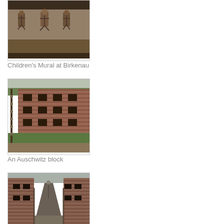[Figure (photo): Children's mural artwork at Birkenau concentration camp showing painted figures of children]
Children's Mural at Birkenau
[Figure (photo): A brick building block at Auschwitz concentration camp with barbed wire fence post in foreground and green lawn]
An Auschwitz block
[Figure (photo): A narrow alleyway between brick building blocks at Auschwitz concentration camp with gravel path]